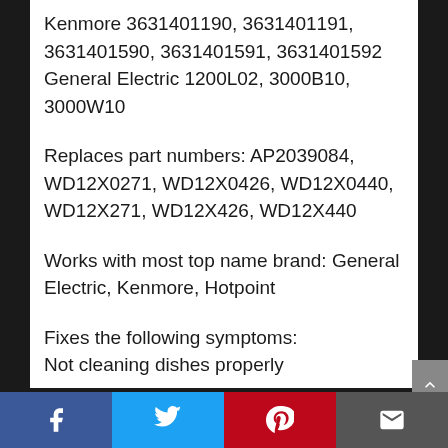Kenmore 3631401190, 3631401191, 3631401590, 3631401591, 3631401592 General Electric 1200L02, 3000B10, 3000W10
Replaces part numbers: AP2039084, WD12X0271, WD12X0426, WD12X0440, WD12X271, WD12X426, WD12X440
Works with most top name brand: General Electric, Kenmore, Hotpoint
Fixes the following symptoms:
Not cleaning dishes properly
Facebook | Twitter | Pinterest | Email